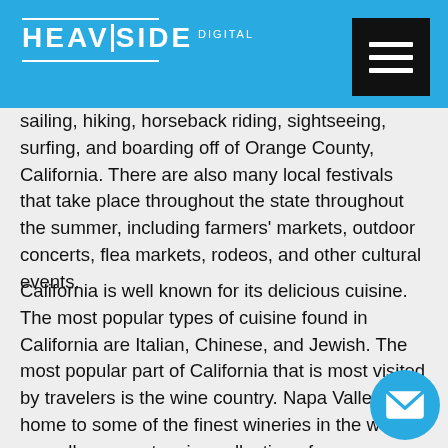HEAVISIDE DIGITAL
sailing, hiking, horseback riding, sightseeing, surfing, and boarding off of Orange County, California. There are also many local festivals that take place throughout the state throughout the summer, including farmers' markets, outdoor concerts, flea markets, rodeos, and other cultural events.
California is well known for its delicious cuisine. The most popular types of cuisine found in California are Italian, Chinese, and Jewish. The most popular part of California that is most visited by travelers is the wine country. Napa Valley is home to some of the finest wineries in the world, as well as an extensive collection of museums and art galleries. Sonoma, the largest city in Northern California, is also home to many famous universities such as Stanford, Berkeley, and San Francisco.
Travelers to California also need to check out its major attractions. The Golden Gate Bridge, a favorite among a great way to get over the hump from San Francisco to ...